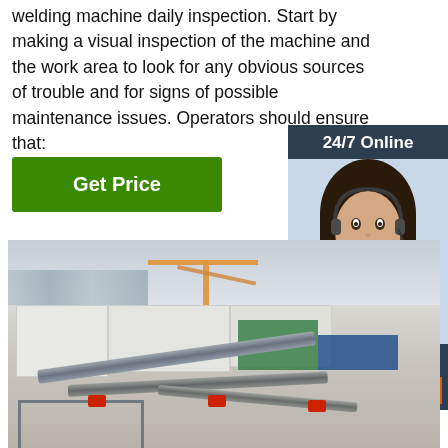welding machine daily inspection. Start by making a visual inspection of the machine and the work area to look for any obvious sources of trouble and for signs of possible maintenance issues. Operators should ensure that:
[Figure (other): Green 'Get Price' button]
[Figure (other): Sidebar advertisement with '24/7 Online' header, photo of a customer service representative wearing a headset, text 'Click here for free chat!' and an orange 'QUOTATION' button]
[Figure (photo): Construction site photo showing metal pipes and frames on a rooftop or elevated platform, with cranes and buildings visible in the background]